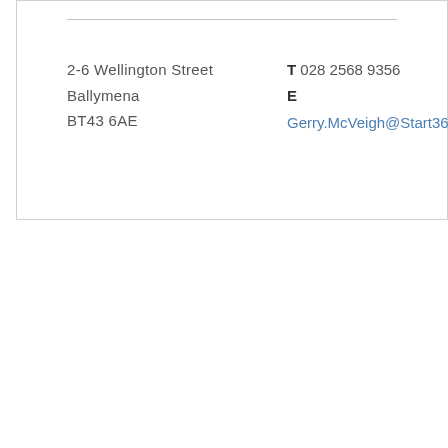2-6 Wellington Street  T 028 2568 9356  Ballymena  E  Gerry.McVeigh@Start360.org  BT43 6AE